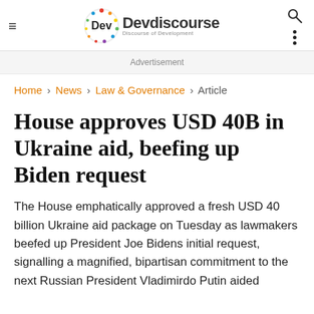Devdiscourse — Discourse of Development
Advertisement
Home › News › Law & Governance › Article
House approves USD 40B in Ukraine aid, beefing up Biden request
The House emphatically approved a fresh USD 40 billion Ukraine aid package on Tuesday as lawmakers beefed up President Joe Bidens initial request, signalling a magnified, bipartisan commitment to the next Russian President Vladimirdo Putin aided...